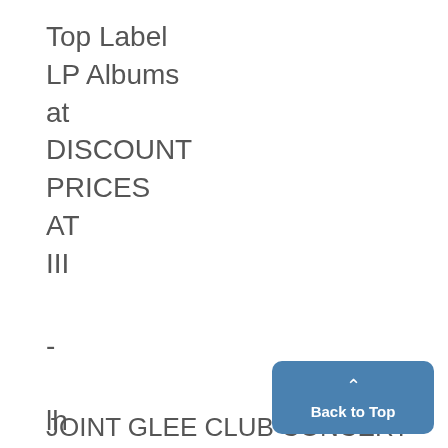Top Label
LP Albums
at
DISCOUNT
PRICES
AT
III
-
lh
JOINT GLEE CLUB CONCERT
Back to Top